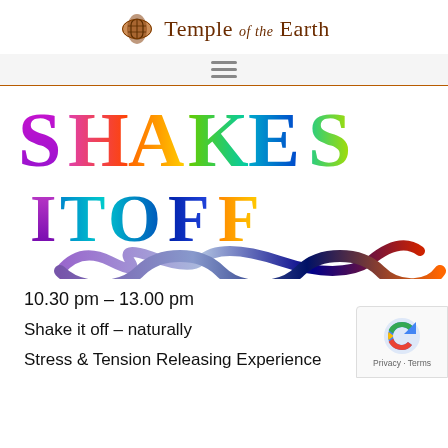Temple of the Earth
[Figure (illustration): Colorful rainbow-lettered 'SHAKE IT OFFS' text with swirling infinity symbol typography in multicolor gradient]
10.30 pm – 13.00 pm
Shake it off – naturally
Stress & Tension Releasing Experience